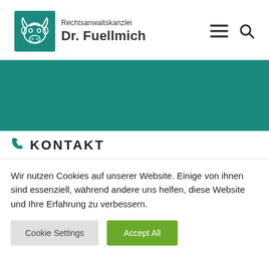[Figure (logo): Rechtsanwaltskanzlei Dr. Fuellmich logo with teal bull head illustration and law firm name]
KONTAKT
Wir nutzen Cookies auf unserer Website. Einige von ihnen sind essenziell, während andere uns helfen, diese Website und Ihre Erfahrung zu verbessern.
Cookie Settings
Accept All